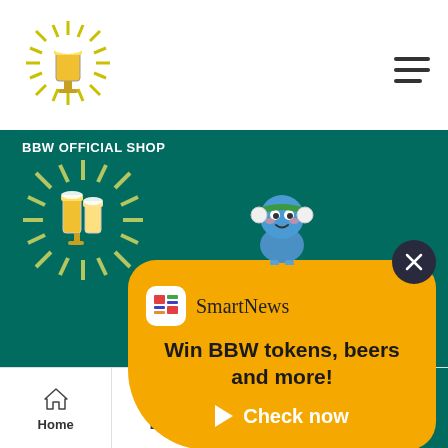[Figure (logo): BBW sunburst beer logo on white background]
[Figure (other): Hamburger menu icon (three horizontal lines)]
BBW OFFICIAL SHOP
[Figure (logo): BBW sunburst beer logo (larger version) on green background]
JOIN THE E-LIST
BE THE FIRST TO KNOW
Email
FOLLOW US ON
[Figure (infographic): SmartNews popup advertisement with mascot robot character, SmartNews logo and text: Win BBW tokens, beers and more! Check now]
[Figure (other): Bottom navigation bar with Home, Beers, Food, and Tickets icons]